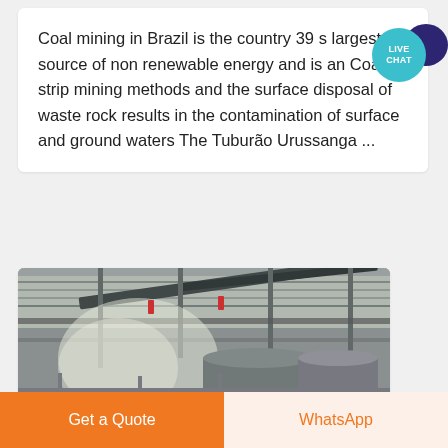Coal mining in Brazil is the country 39 s largest source of non renewable energy and is an Coal strip mining methods and the surface disposal of waste rock results in the contamination of surface and ground waters The Tuburão Urussanga ...
[Figure (photo): Interior of an industrial mining facility showing conveyor belts and metal framework on the ceiling, with large cylindrical tanks/silos visible in the background. The space is lit with industrial lighting.]
Get a Quote
WhatsApp